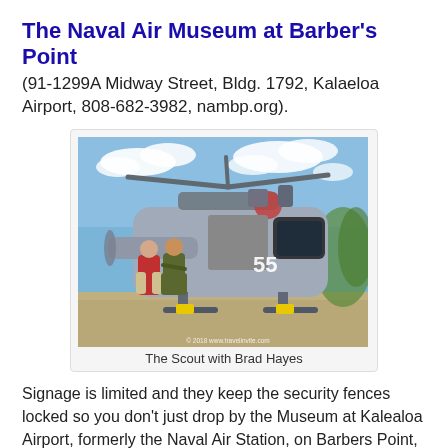The Naval Air Museum at Barber's Point
(91-1299A Midway Street, Bldg. 1792, Kalaeloa Airport, 808-682-3982, nambp.org).
[Figure (photo): A military helicopter (numbered 55) on a tarmac with two people standing beside it, blue sky with clouds in background. Copyright 2018 www.travelinvite.com]
The Scout with Brad Hayes
Signage is limited and they keep the security fences locked so you don't just drop by the Museum at Kalealoa Airport, formerly the Naval Air Station, on Barbers Point, near Kaneolei on O'ahu's west coast. You have to schedule your